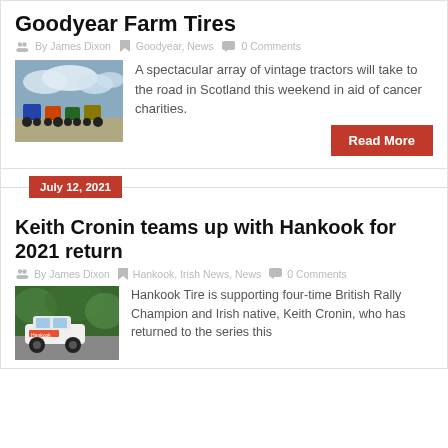Goodyear Farm Tires
By James Dixon  Goodyear, News  0 Comments
[Figure (photo): Vintage tractors lined up outdoors under a cloudy sky]
A spectacular array of vintage tractors will take to the road in Scotland this weekend in aid of cancer charities.
Read More
July 12, 2021
Keith Cronin teams up with Hankook for 2021 return
By James Dixon  Hankook, Irish News, News  0 Comments
[Figure (photo): Rally car with Hankook branding on a road]
Hankook Tire is supporting four-time British Rally Champion and Irish native, Keith Cronin, who has returned to the series this